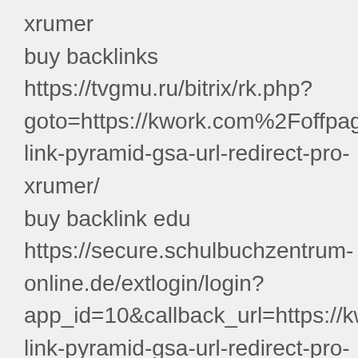xrumer
buy backlinks
https://tvgmu.ru/bitrix/rk.php?goto=https://kwork.com%2Foffpageseo%link-pyramid-gsa-url-redirect-pro-xrumer/
buy backlink edu
https://secure.schulbuchzentrum-online.de/extlogin/login?app_id=10&callback_url=https://kwork.colink-pyramid-gsa-url-redirect-pro-xrumer/
buy backlinks store
http://www.google.lu/url?